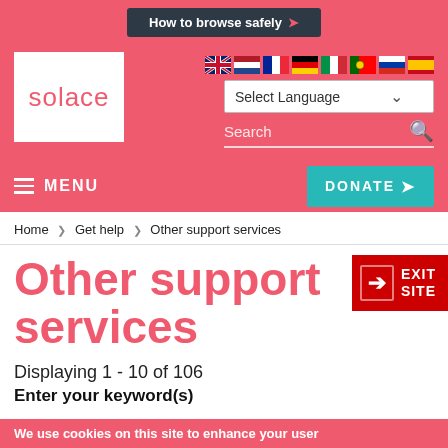How to browse safely
[Figure (logo): Solace logo — white box with pink 'solace' text]
Select Language (dropdown) with flag icons for multiple languages and a search bar
MENU | DONATE
Home > Get help > Other support services
Other support services
[Figure (other): Red EXIT SITE button with arrow icon]
Displaying 1 - 10 of 106
Enter your keyword(s)
We use cookies on this site to enhance your user